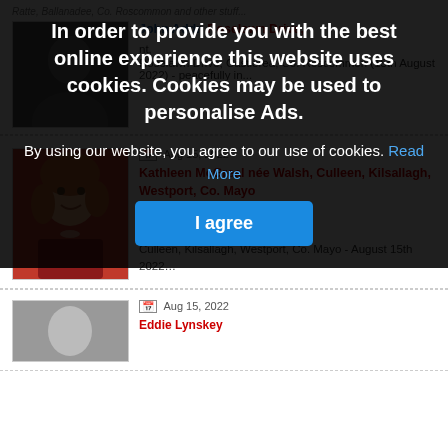[Figure (screenshot): Cookie consent overlay on a website listing obituaries. Overlay has dark semi-transparent background with bold white text: 'In order to provide you with the best online experience this website uses cookies. Cookies may be used to personalise Ads.' followed by body text and a blue 'I agree' button. Behind overlay are obituary listings with photos.]
In order to provide you with the best online experience this website uses cookies. Cookies may be used to personalise Ads.
By using our website, you agree to our use of cookies. Read More
I agree
Roselawn Drive, Castlerea, Co. Roscommon (15th August 2022) - peacefully in...
Aug 15, 2022
Kathleen McGreal née Walsh, Culleen, Kilsallagh, Westport, Co. Mayo
Kathleen McGreal née Walsh, Culleen, Kilsallagh, Westport, Co. Mayo - August 15th 2022...
Aug 15, 2022
Eddie Lynskey